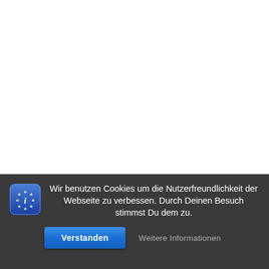Wir benutzen Cookies um die Nutzerfreundlichkeit der Webseite zu verbessen. Durch Deinen Besuch stimmst Du dem zu.
Verstanden
Weitere Informationen